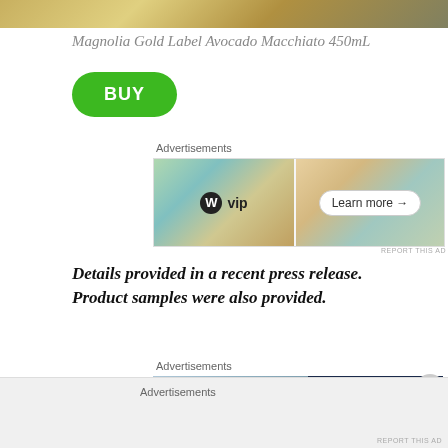[Figure (photo): Top portion of a product image showing Magnolia Gold Label Avocado Macchiato 450mL — partial crop of decorative product packaging]
Magnolia Gold Label Avocado Macchiato 450mL
[Figure (other): BUY button — green rounded rectangle with white bold BUY text]
Advertisements
[Figure (other): Advertisement banner featuring WordPress VIP logo on left side with colorful collage background, and Learn more → button on right side]
REPORT THIS AD
Details provided in a recent press release. Product samples were also provided.
Advertisements
[Figure (other): Advertisement banner — left side shows blurred storefront/street scene, right side is dark navy blue with large white D letter/icon]
Advertisements
REPORT THIS AD